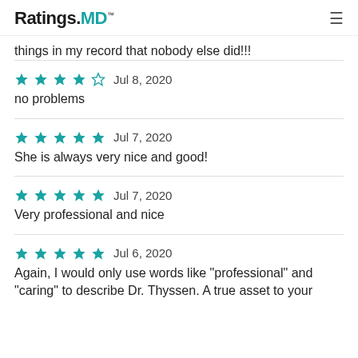Ratings.MD™
things in my record that nobody else did!!!
★★★★☆  Jul 8, 2020
no problems
★★★★★  Jul 7, 2020
She is always very nice and good!
★★★★★  Jul 7, 2020
Very professional and nice
★★★★★  Jul 6, 2020
Again, I would only use words like "professional" and "caring" to describe Dr. Thyssen. A true asset to your